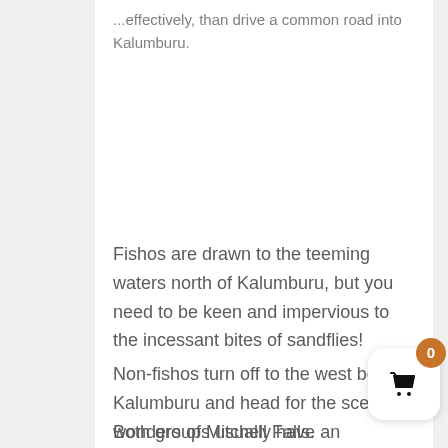...effectively, than drive a common road into Kalumburu.
Fishos are drawn to the teeming waters north of Kalumburu, but you need to be keen and impervious to the incessant bites of sandflies!
Non-fishos turn off to the west before Kalumburu and head for the scenic wonders of Mitchell Falls.
Both groups usually have an overnight